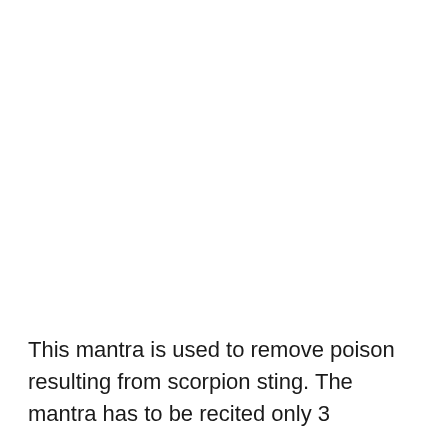This mantra is used to remove poison resulting from scorpion sting. The mantra has to be recited only 3 times and...